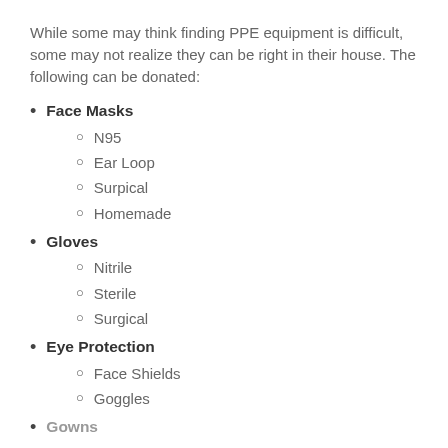While some may think finding PPE equipment is difficult, some may not realize they can be right in their house. The following can be donated:
Face Masks
N95
Ear Loop
Surpical
Homemade
Gloves
Nitrile
Sterile
Surgical
Eye Protection
Face Shields
Goggles
Gowns